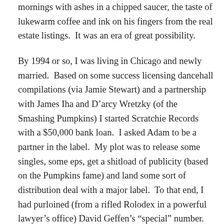mornings with ashes in a chipped saucer, the taste of lukewarm coffee and ink on his fingers from the real estate listings.  It was an era of great possibility.
By 1994 or so, I was living in Chicago and newly married.  Based on some success licensing dancehall compilations (via Jamie Stewart) and a partnership with James Iha and D'arcy Wretzky (of the Smashing Pumpkins) I started Scratchie Records with a $50,000 bank loan.  I asked Adam to be a partner in the label.  My plot was to release some singles, some eps, get a shitload of publicity (based on the Pumpkins fame) and land some sort of distribution deal with a major label.  To that end, I had purloined (from a rifled Rolodex in a powerful lawyer's office) David Geffen's “special” number.   Somehow, in the infinite ballsiness that I used to possess, I managed to bullshit my way onto the